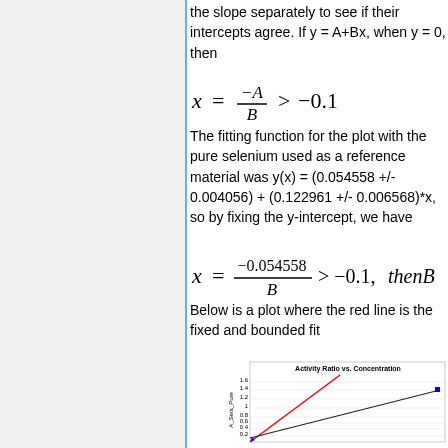the slope separately to see if their intercepts agree. If y = A+Bx, when y = 0, then
The fitting function for the plot with the pure selenium used as a reference material was y(x) = (0.054558 +/- 0.004056) + (0.122961 +/- 0.006568)*x, so by fixing the y-intercept, we have
Below is a plot where the red line is the fixed and bounded fit
[Figure (continuous-plot): Activity Ratio vs. Concentration plot with y-axis labeled A_Se/a_Pure from 0.2 to 1.6, showing a red line (fixed and bounded fit) and a blue/black line with data points.]